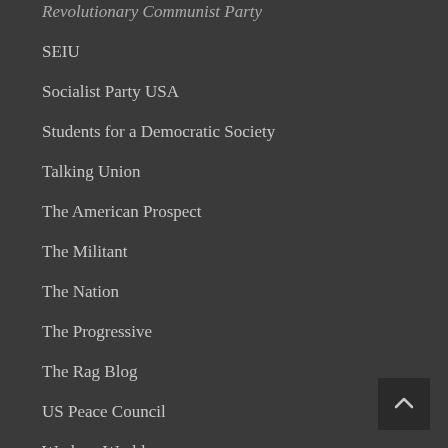Revolutionary Communist Party
SEIU
Socialist Party USA
Students for a Democratic Society
Talking Union
The American Prospect
The Militant
The Nation
The Progressive
The Rag Blog
US Peace Council
Workers World